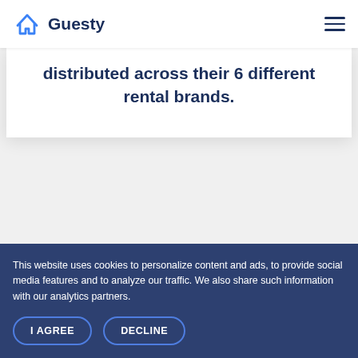[Figure (logo): Guesty logo: blue outlined house icon with text 'Guesty' in dark navy bold font]
distributed across their 6 different rental brands.
This website uses cookies to personalize content and ads, to provide social media features and to analyze our traffic. We also share such information with our analytics partners.
I AGREE
DECLINE